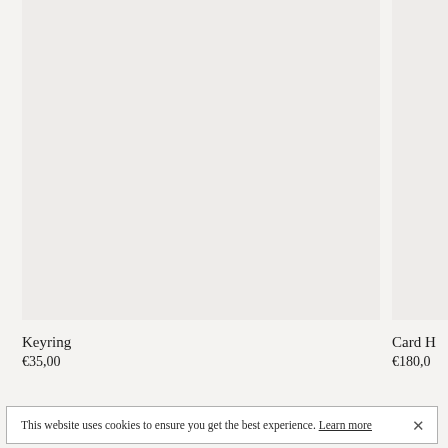[Figure (photo): Product image placeholder area for a Keyring, light grey background]
[Figure (photo): Partially visible product image placeholder for Card Holder, light grey background, cropped at right edge]
Keyring
€35,00
Card H
€180,0
This website uses cookies to ensure you get the best experience. Learn more